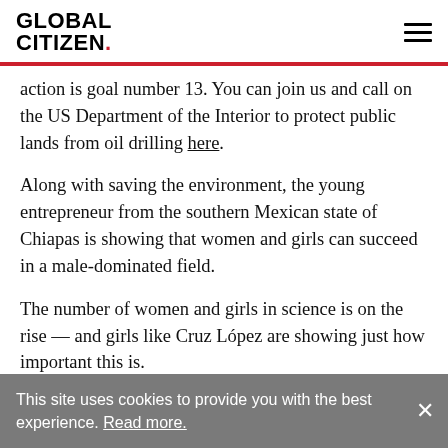GLOBAL CITIZEN.
action is goal number 13. You can join us and call on the US Department of the Interior to protect public lands from oil drilling here.
Along with saving the environment, the young entrepreneur from the southern Mexican state of Chiapas is showing that women and girls can succeed in a male-dominated field.
The number of women and girls in science is on the rise — and girls like Cruz López are showing just how important this is.
This site uses cookies to provide you with the best experience. Read more.